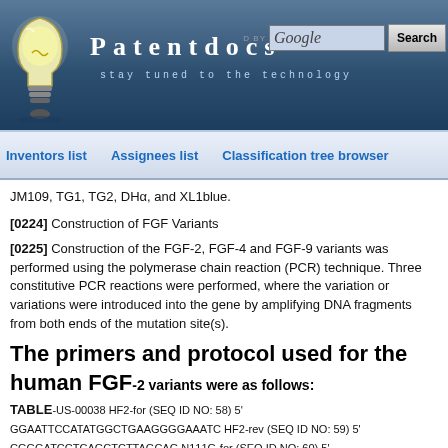[Figure (logo): Patentdocs website header with lightbulb logo, site name 'Patentdocs', tagline 'stay tuned to the technology', and Google search box with Search button]
Inventors list   Assignees list   Classification tree browser
JM109, TG1, TG2, DHα, and XL1blue.
[0224] Construction of FGF Variants
[0225] Construction of the FGF-2, FGF-4 and FGF-9 variants was performed using the polymerase chain reaction (PCR) technique. Three constitutive PCR reactions were performed, where the variation or variations were introduced into the gene by amplifying DNA fragments from both ends of the mutation site(s).
The primers and protocol used for the human FGF-2 variants were as follows:
TABLE-US-00038 HF2-for (SEQ ID NO: 58) 5' GGAATTCCATATGGCTGAAGGGGAAATC HF2-rev (SEQ ID NO: 59) 5' CGGGATCCTCAGCTCTTAGCAG N111G-for (SEQ ID NO: 60) 5' GATTGGAATCTAATGGCTACAATACTTAC N111G-